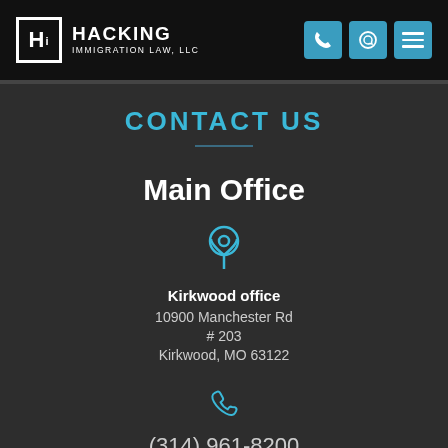HACKING IMMIGRATION LAW, LLC
CONTACT US
Main Office
[Figure (illustration): Map pin / location icon in teal outline style]
Kirkwood office
10900 Manchester Rd
# 203
Kirkwood, MO 63122
[Figure (illustration): Phone handset icon in teal outline style]
(314) 961-8200